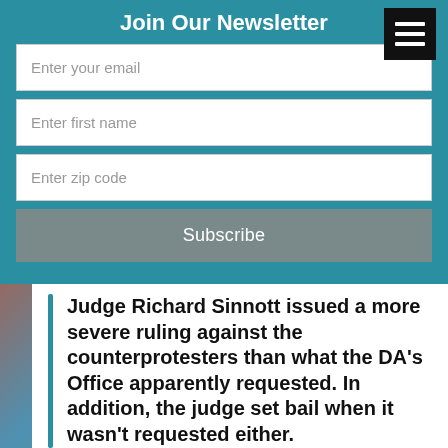Join Our Newsletter
Enter your email
Enter first name
Enter zip code
Subscribe
Judge Richard Sinnott issued a more severe ruling against the counterprotesters than what the DA’s Office apparently requested. In addition, the judge set bail when it wasn’t requested either.
“There were a lot of organizations and groups that came in that were looking to disrupt the event and I can’t necessarily say that I blame